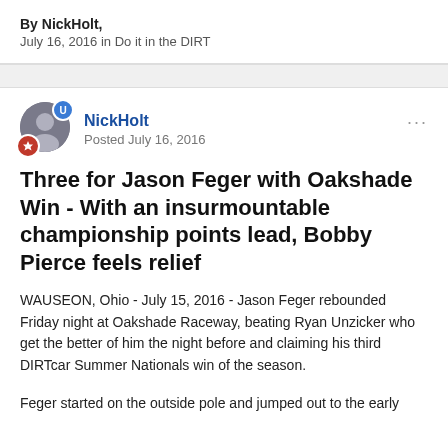By NickHolt,
July 16, 2016 in Do it in the DIRT
NickHolt
Posted July 16, 2016
Three for Jason Feger with Oakshade Win - With an insurmountable championship points lead, Bobby Pierce feels relief
WAUSEON, Ohio - July 15, 2016 - Jason Feger rebounded Friday night at Oakshade Raceway, beating Ryan Unzicker who get the better of him the night before and claiming his third DIRTcar Summer Nationals win of the season.
Feger started on the outside pole and jumped out to the early